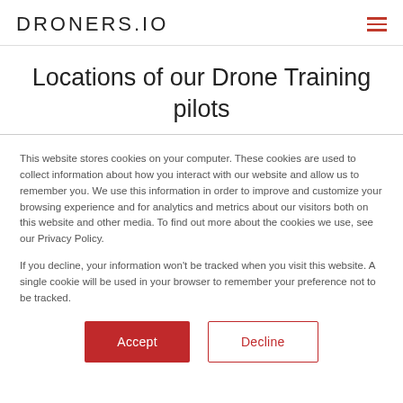DRONERS.IO
Locations of our Drone Training pilots
This website stores cookies on your computer. These cookies are used to collect information about how you interact with our website and allow us to remember you. We use this information in order to improve and customize your browsing experience and for analytics and metrics about our visitors both on this website and other media. To find out more about the cookies we use, see our Privacy Policy.
If you decline, your information won't be tracked when you visit this website. A single cookie will be used in your browser to remember your preference not to be tracked.